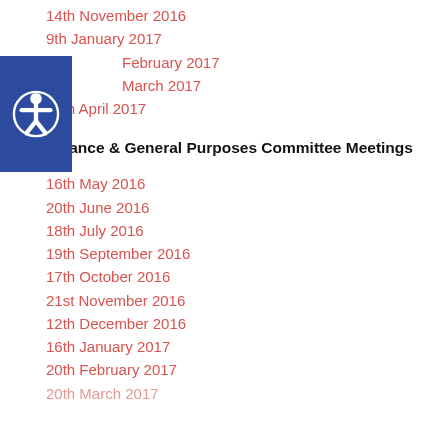14th November 2016
9th January 2017
February 2017
March 2017
10th April 2017
Finance & General Purposes Committee Meetings
16th May 2016
20th June 2016
18th July 2016
19th September 2016
17th October 2016
21st November 2016
12th December 2016
16th January 2017
20th February 2017
20th March 2017